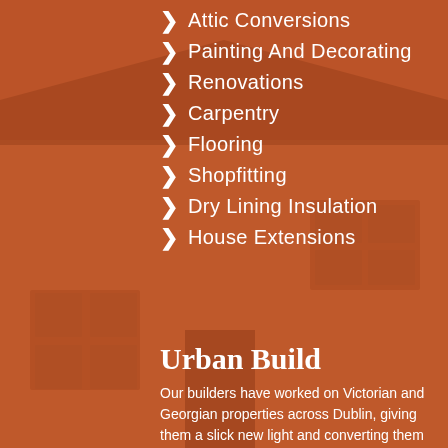[Figure (photo): Background photo of a Victorian/Georgian stone brick house with warm reddish-orange overlay tint]
Attic Conversions
Painting And Decorating
Renovations
Carpentry
Flooring
Shopfitting
Dry Lining Insulation
House Extensions
Urban Build
Our builders have worked on Victorian and Georgian properties across Dublin, giving them a slick new light and converting them